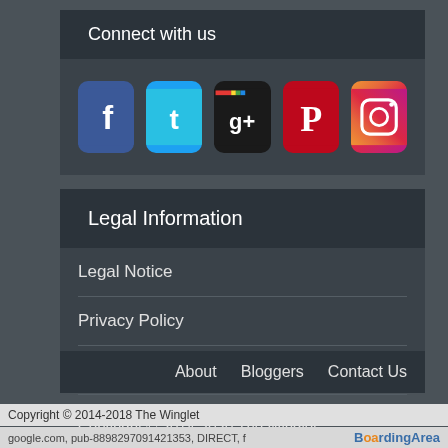Connect with us
[Figure (illustration): Row of social media icons: Facebook (blue), Twitter (light blue), Google+ (dark with colorful logo), Pinterest (red), Instagram (gradient)]
Legal Information
Legal Notice
Privacy Policy
Terms of Use
Copyright © 2014-2020 The Winglet
All rights reserved.
About   Bloggers   Contact Us
Copyright © 2014-2018 The Winglet
google.com, pub-8898297091421353, DIRECT, f   BoardingArea